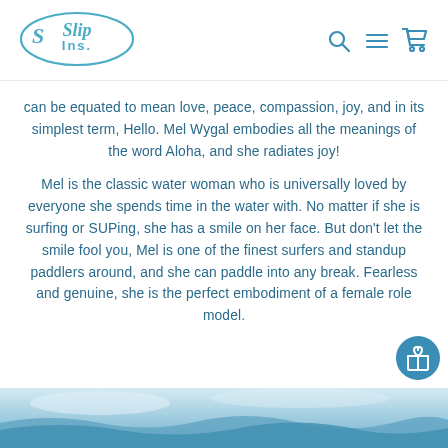[Figure (logo): SlipIns logo — stylized script text inside a teal oval outline]
can be equated to mean love, peace, compassion, joy, and in its simplest term, Hello. Mel Wygal embodies all the meanings of the word Aloha, and she radiates joy!
Mel is the classic water woman who is universally loved by everyone she spends time in the water with. No matter if she is surfing or SUPing, she has a smile on her face. But don't let the smile fool you, Mel is one of the finest surfers and standup paddlers around, and she can paddle into any break. Fearless and genuine, she is the perfect embodiment of a female role model.
[Figure (photo): Ocean/water scene photo, teal-blue waves and sky at the bottom of the page]